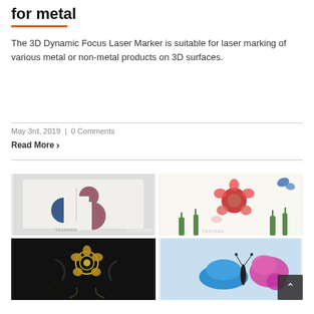for metal
The 3D Dynamic Focus Laser Marker is suitable for laser marking of various metal or non-metal products on 3D surfaces.
May 3rd, 2019 | 0 Comments
Read More ›
[Figure (photo): White card with blue and pink/mauve geometric half-circle shapes forming an abstract logo. Watermark 'TECHDEN' visible.]
[Figure (photo): Colorful laser-marked floral design on white surface showing flowers, butterflies, and plants in red, green, pink, and blue. Watermark visible.]
[Figure (photo): Dark background with gold and dark rose/flower laser-engraved design with decorative swirls.]
[Figure (photo): Light blue background with colorful pink/magenta butterfly laser-cut or marked design. Scroll-to-top button overlay visible.]